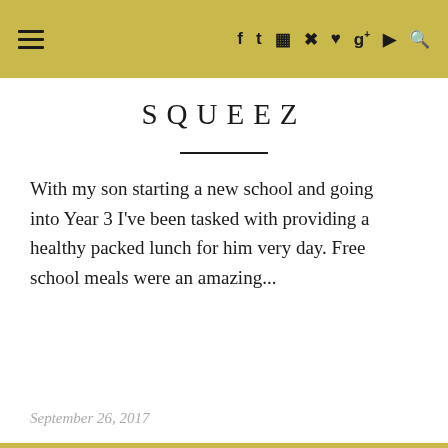☰ f t ⊡ ℗ ♥ g+ ▶ 🔍
SQUEEZ
With my son starting a new school and going into Year 3 I've been tasked with providing a healthy packed lunch for him very day. Free school meals were an amazing...
September 26, 2017